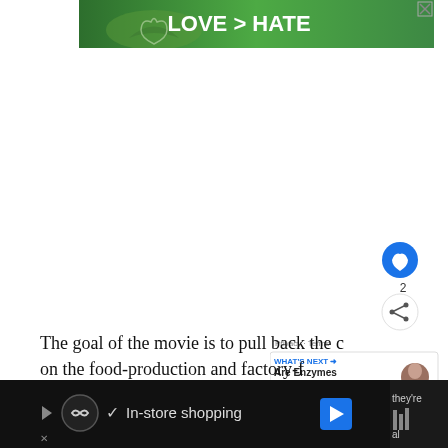[Figure (photo): Advertisement banner with 'LOVE > HATE' text over green background with hands forming a heart shape, with an X close button in top right]
[Figure (other): Like button (blue circle with heart icon), count of 2, share button (white circle with share icon), Privacy and Terms text, and 'What's Next' panel with 'Are Enzymes Vegan?' article preview with avatar photo]
The goal of the movie is to pull back the curtain on the food-production and factory-farming industries.
[Figure (other): Bottom advertisement bar on dark background with a circular logo, checkmark, 'In-store shopping' text, and a blue navigation arrow icon, with an X dismiss button and partial right-side content]